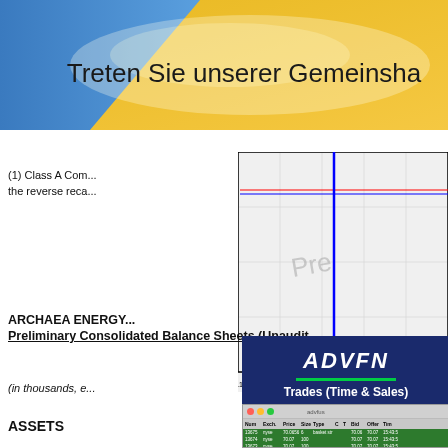[Figure (infographic): Banner with blue and gold gradient background and German text 'Treten Sie unserer Gemeinschaft bei' (Join our community)]
[Figure (continuous-plot): Stock price line chart showing price range 19.5 to 19.7, with x-axis from 1100 to 2100, red and blue horizontal lines, and a sharp vertical blue spike near x=1500. Watermark text 'Pre' visible. Attribution: (c) www.advfn.com]
(1) Class A Com... the reverse reca...
ARCHAEA ENERGY...
Preliminary Consolidated Balance Sheets (Unaudit...
(in thousands, e...
ASSETS
[Figure (screenshot): ADVFN panel with dark blue background showing ADVFN logo in bold italic white, green underline, and 'Trades (Time & Sales)' subtitle. Below is a screenshot of ADVFN trading interface showing a table with columns: Num, Exch., Price, Size, Type, C, T, Bid, Offer, Time. Rows show trades for nyse at prices around 70.06-70.07 with times around 15:43.]